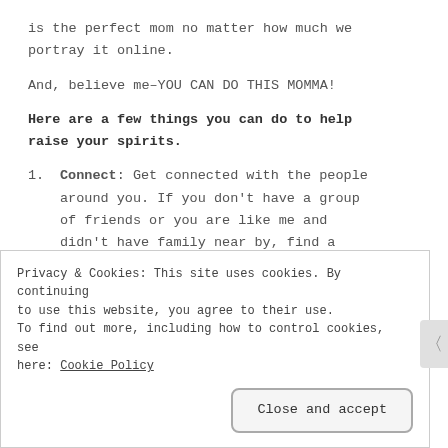is the perfect mom no matter how much we portray it online.
And, believe me–YOU CAN DO THIS MOMMA!
Here are a few things you can do to help raise your spirits.
Connect: Get connected with the people around you. If you don't have a group of friends or you are like me and didn't have family near by, find a
Privacy & Cookies: This site uses cookies. By continuing to use this website, you agree to their use. To find out more, including how to control cookies, see here: Cookie Policy
Close and accept